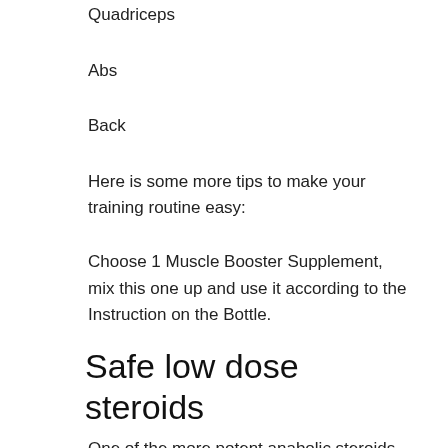Quadriceps
Abs
Back
Here is some more tips to make your training routine easy:
Choose 1 Muscle Booster Supplement, mix this one up and use it according to the Instruction on the Bottle.
Safe low dose steroids
One of the more potent anabolic steroids out there, so if you are new to anabolic steroids in general, it is always best to start out with a very low dose and gradually work your way upto a higher one. However, be cautious and always ask your doctor first. Always consult an accredited clinical psychologist before starting a steroid regimen, and always ask